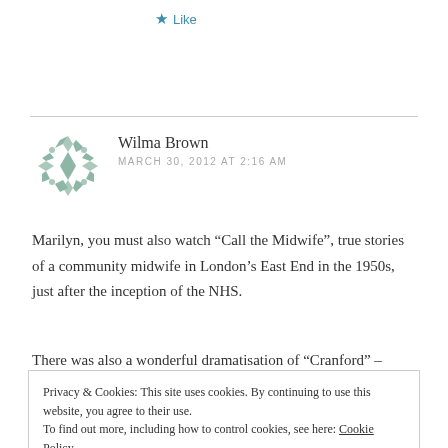★ Like
[Figure (illustration): Teal/green decorative snowflake/quilt pattern avatar icon for commenter Wilma Brown]
Wilma Brown
MARCH 30, 2012 AT 2:16 AM
Marilyn, you must also watch “Call the Midwife”, true stories of a community midwife in London’s East End in the 1950s, just after the inception of the NHS.
There was also a wonderful dramatisation of “Cranford” –
Privacy & Cookies: This site uses cookies. By continuing to use this website, you agree to their use.
To find out more, including how to control cookies, see here: Cookie Policy
Close and accept
★ Like